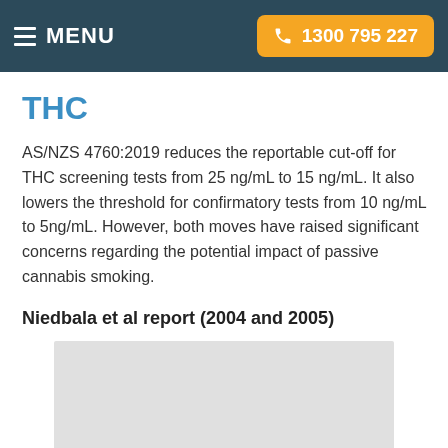MENU   1300 795 227
THC
AS/NZS 4760:2019 reduces the reportable cut-off for THC screening tests from 25 ng/mL to 15 ng/mL. It also lowers the threshold for confirmatory tests from 10 ng/mL to 5ng/mL. However, both moves have raised significant concerns regarding the potential impact of passive cannabis smoking.
Niedbala et al report (2004 and 2005)
[Figure (other): Placeholder image area — light grey rectangle below the Niedbala et al report heading]